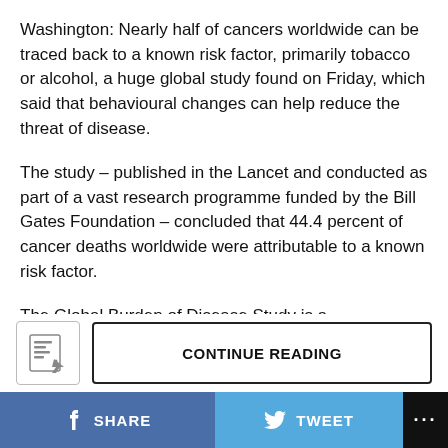Washington: Nearly half of cancers worldwide can be traced back to a known risk factor, primarily tobacco or alcohol, a huge global study found on Friday, which said that behavioural changes can help reduce the threat of disease.
The study – published in the Lancet and conducted as part of a vast research programme funded by the Bill Gates Foundation – concluded that 44.4 percent of cancer deaths worldwide were attributable to a known risk factor.
The Global Burden of Disease Study is a comprehensive regional and global research programme involving thousands of researchers from most countries across the globe.
[Figure (other): Continue reading icon showing a document with cursor]
CONTINUE READING
SHARE
TWEET
...